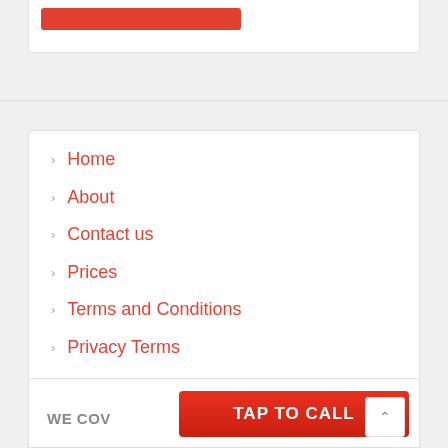Home
About
Contact us
Prices
Terms and Conditions
Privacy Terms
Book a Cleaner
WE COV
TAP TO CALL